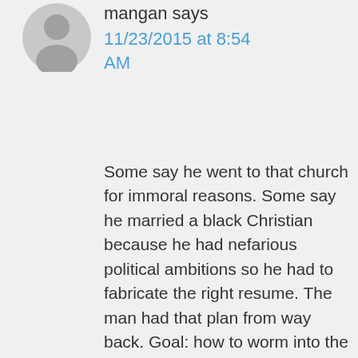[Figure (illustration): Gray generic user avatar silhouette icon]
mangan says
11/23/2015 at 8:54 AM
Some say he went to that church for immoral reasons. Some say he married a black Christian because he had nefarious political ambitions so he had to fabricate the right resume. The man had that plan from way back. Goal: how to worm into the WH then push the extreme liberal and Islamic line. He lay low during his first term–like a crocodile lurking low in the water–then he